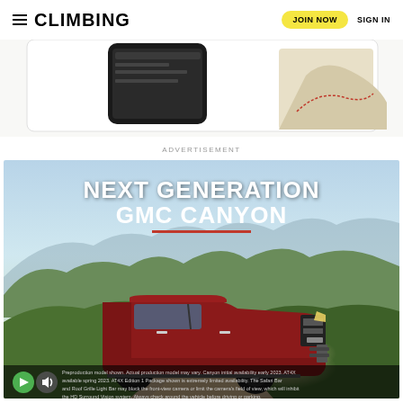CLIMBING | JOIN NOW | SIGN IN
[Figure (screenshot): Partial screenshot of a climbing app showing a phone and map interface on a white/beige background]
ADVERTISEMENT
[Figure (photo): GMC Canyon advertisement showing a dark red pickup truck driving on a dirt road in a mountain landscape with the text NEXT GENERATION GMC CANYON and a video player overlay at the bottom with disclaimer text]